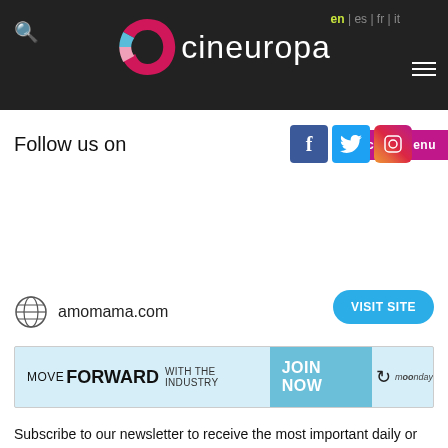cineuropa — en | es | fr | it
Follow us on
amomama.com
[Figure (other): Ad banner: MOVE FORWARD WITH THE INDUSTRY JOIN NOW (monday.com)]
Subscribe to our newsletter to receive the most important daily or weekly news on European cinema
e-mail address
latest news